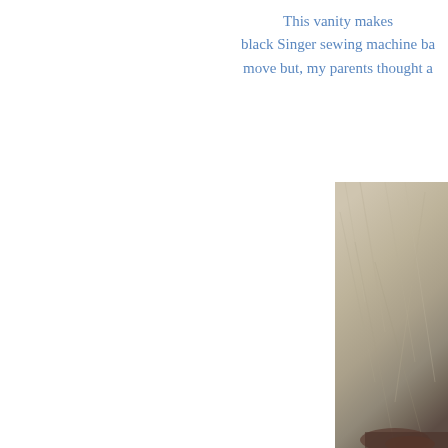This vanity makes black Singer sewing machine ba move but, my parents thought a
[Figure (photo): A close-up photograph of what appears to be a textured surface, possibly carpet or fabric, in beige/tan tones with a dark reddish-brown object visible at the bottom edge.]